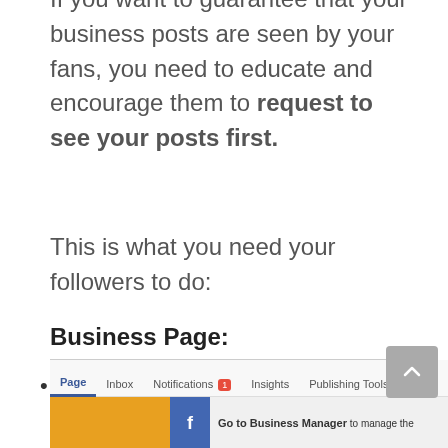If you want to guarantee that your business posts are seen by your fans, you need to educate and encourage them to request to see your posts first.
This is what you need your followers to do:
Business Page:
Go to the business/brand page whose posts you want to see. Check that you 'like' the page.
[Figure (screenshot): Screenshot of a Facebook Business Page navigation bar showing tabs: Page (active, underlined in blue), Inbox, Notifications (with red badge), Insights, Publishing Tools. Below is an orange image block, a Facebook blue icon, and text beginning 'Go to Business Manager to manage the...']